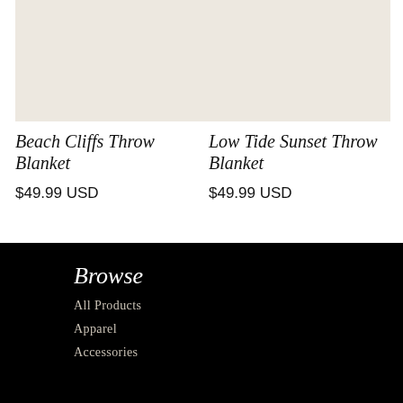[Figure (photo): Product image placeholder for Beach Cliffs Throw Blanket — beige/cream colored background square]
Beach Cliffs Throw Blanket
$49.99 USD
[Figure (photo): Product image placeholder for Low Tide Sunset Throw Blanket — beige/cream colored background square]
Low Tide Sunset Throw Blanket
$49.99 USD
Browse
All Products
Apparel
Accessories